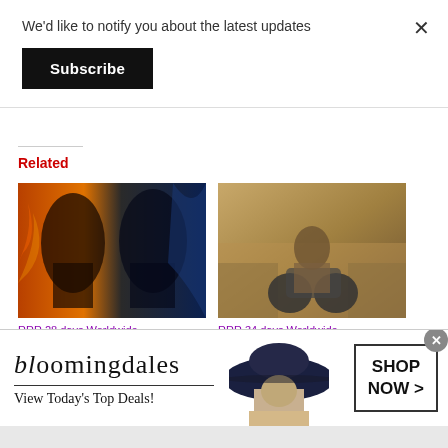We'd like to notify you about the latest updates
Subscribe
Related
[Figure (photo): Movie poster with two men facing each other, fire and ice/blue elements in background]
[Figure (photo): Man riding motorcycle on a street scene with a blurred background]
RRR 28 days Worldwide
RRR 34 days Worldwide
[Figure (infographic): Bloomingdales advertisement banner with woman in wide-brim hat. Text: bloomingdales, View Today's Top Deals!, SHOP NOW >]